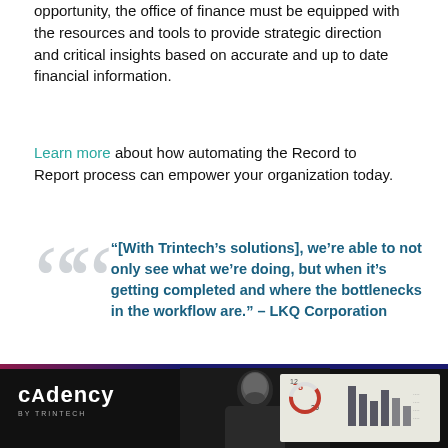opportunity, the office of finance must be equipped with the resources and tools to provide strategic direction and critical insights based on accurate and up to date financial information.
Learn more about how automating the Record to Report process can empower your organization today.
“[With Trintech’s solutions], we’re able to not only see what we’re doing, but when it’s getting completed and where the bottlenecks in the workflow are.” – LKQ Corporation
[Figure (photo): Cadency by Trintech banner advertisement with a man in a dark setting on the left and financial dashboard/charts on the right]